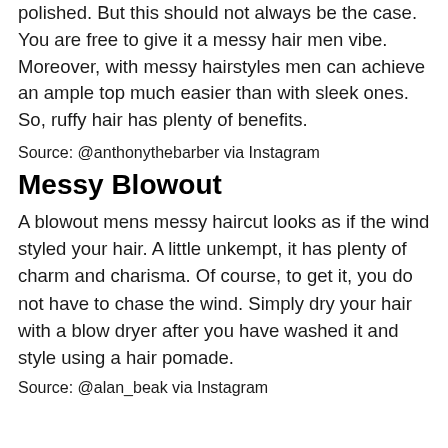polished. But this should not always be the case. You are free to give it a messy hair men vibe. Moreover, with messy hairstyles men can achieve an ample top much easier than with sleek ones. So, ruffy hair has plenty of benefits.
Source: @anthonythebarber via Instagram
Messy Blowout
A blowout mens messy haircut looks as if the wind styled your hair. A little unkempt, it has plenty of charm and charisma. Of course, to get it, you do not have to chase the wind. Simply dry your hair with a blow dryer after you have washed it and style using a hair pomade.
Source: @alan_beak via Instagram